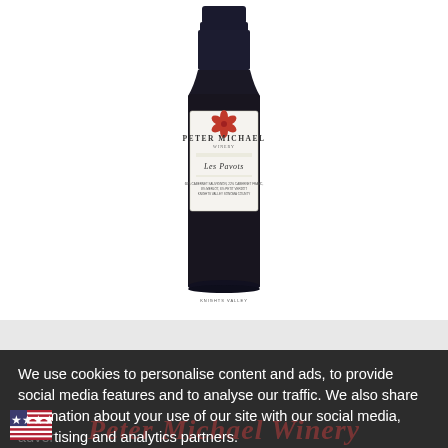[Figure (photo): A wine bottle of Peter Michael Winery 'Les Pavots' red wine. The bottle is dark with a white label showing a red floral logo, the text 'Peter Michael' and 'Les Pavots', photographed against a white background.]
We use cookies to personalise content and ads, to provide social media features and to analyse our traffic. We also share information about your use of our site with our social media, advertising and analytics partners.